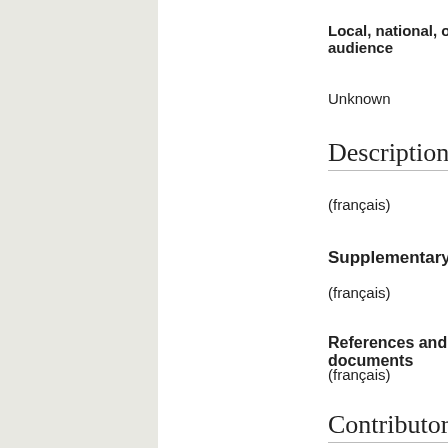Local, national, or international audience
Unknown
Description
(français)   [Expand]
Supplementary notes
(français)   [Expand]
References and external documents
(français)   [Expand]
Contributors